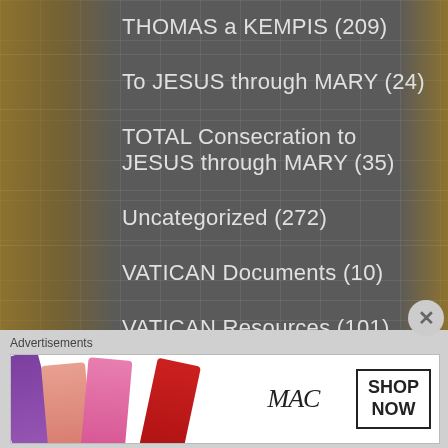THOMAS a KEMPIS (209)
To JESUS through MARY (24)
TOTAL Consecration to JESUS through MARY (35)
Uncategorized (272)
VATICAN Documents (10)
VATICAN Resources (101)
Ven Servant of God John A Hardon (9)
VENIAL SIN (4)
VOCATIONS (5)
WORLD DAYS of PRAYER (91)
WYD – World Youth Day (4)
Advertisements